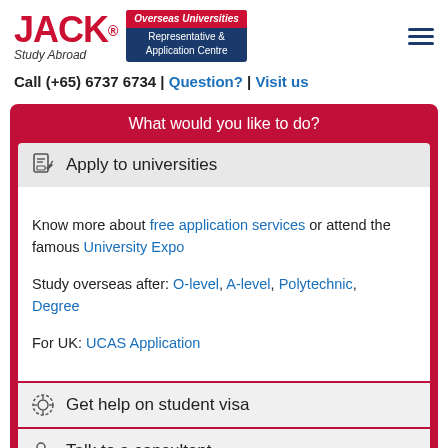JACK® Study Abroad — Overseas Universities Representative & Application Centre
Call (+65) 6737 6734 | Question? | Visit us
What would you like to do?
Apply to universities
Know more about free application services or attend the famous University Expo

Study overseas after: O-level, A-level, Polytechnic, Degree

For UK: UCAS Application
Get help on student visa
Talk to a consultant